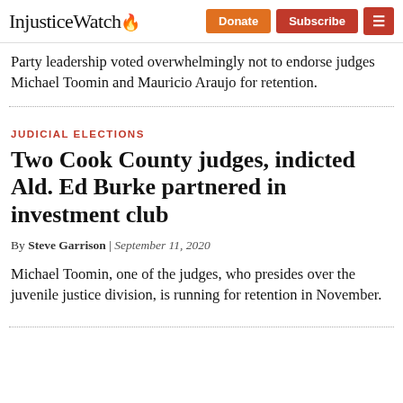InjusticeWatch | Donate | Subscribe
Party leadership voted overwhelmingly not to endorse judges Michael Toomin and Mauricio Araujo for retention.
JUDICIAL ELECTIONS
Two Cook County judges, indicted Ald. Ed Burke partnered in investment club
By Steve Garrison | September 11, 2020
Michael Toomin, one of the judges, who presides over the juvenile justice division, is running for retention in November.